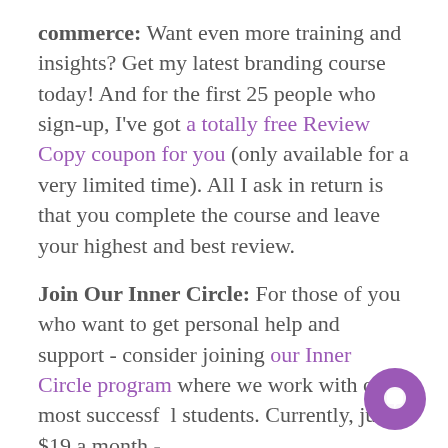commerce: Want even more training and insights? Get my latest branding course today! And for the first 25 people who sign-up, I've got a totally free Review Copy coupon for you (only available for a very limited time). All I ask in return is that you complete the course and leave your highest and best review.

Join Our Inner Circle: For those of you who want to get personal help and support - consider joining our Inner Circle program where we work with our most successful students. Currently, just $19 a month -
[Figure (other): Purple circular chat bubble icon in the bottom right corner]